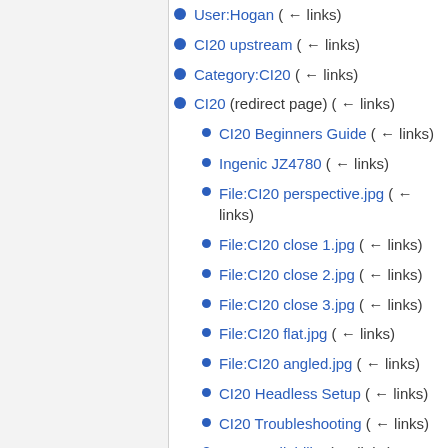User:Hogan  (← links)
CI20 upstream  (← links)
Category:CI20  (← links)
CI20 (redirect page)  (← links)
CI20 Beginners Guide  (← links)
Ingenic JZ4780  (← links)
File:CI20 perspective.jpg  (← links)
File:CI20 close 1.jpg  (← links)
File:CI20 close 2.jpg  (← links)
File:CI20 close 3.jpg  (← links)
File:CI20 flat.jpg  (← links)
File:CI20 angled.jpg  (← links)
CI20 Headless Setup  (← links)
CI20 Troubleshooting  (← links)
CI20 Availability  (← links)
Ci20 (redirect page)  (← links)
Template:CI20  (← links)
How to make a debian rootfs for